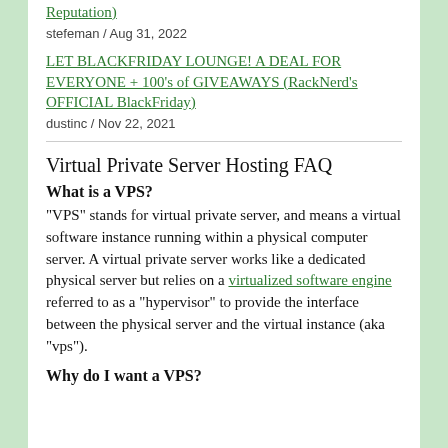Reputation)
stefeman / Aug 31, 2022
LET BLACKFRIDAY LOUNGE! A DEAL FOR EVERYONE + 100's of GIVEAWAYS (RackNerd's OFFICIAL BlackFriday)
dustinc / Nov 22, 2021
Virtual Private Server Hosting FAQ
What is a VPS?
"VPS" stands for virtual private server, and means a virtual software instance running within a physical computer server. A virtual private server works like a dedicated physical server but relies on a virtualized software engine referred to as a "hypervisor" to provide the interface between the physical server and the virtual instance (aka "vps").
Why do I want a VPS?